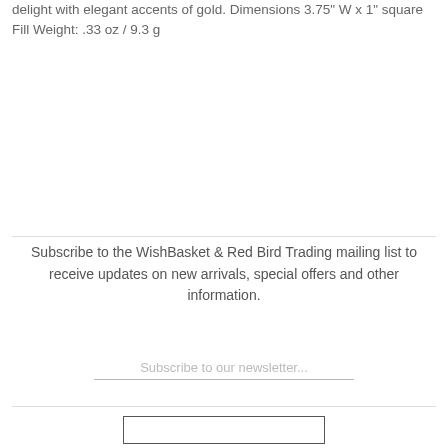delight with elegant accents of gold. Dimensions 3.75" W x 1" square Fill Weight: .33 oz / 9.3 g
Subscribe to the WishBasket & Red Bird Trading mailing list to receive updates on new arrivals, special offers and other information.
Subscribe to our newsletter...